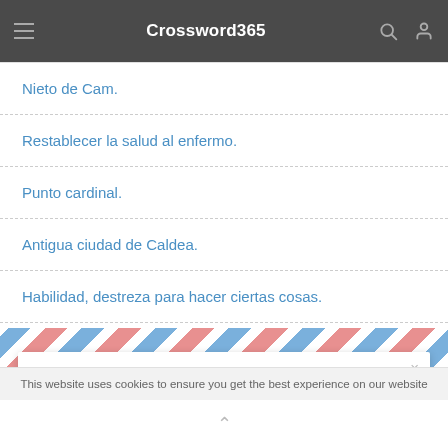Crossword365
Nieto de Cam.
Restablecer la salud al enfermo.
Punto cardinal.
Antigua ciudad de Caldea.
Habilidad, destreza para hacer ciertas cosas.
Get the Premier Sunday Crossword Answers delivered to your inbox every day!
Your E-Mail Address
This website uses cookies to ensure you get the best experience on our website